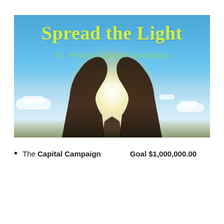[Figure (illustration): Photograph of two hands raised toward the sky, palms up, holding a bright light/sun between them, against a blue sky with clouds. Overlaid with the text 'Spread the Light' in yellow-green and 'St. Hilda's Capital Campaign' in green.]
The Capital Campaign    Goal  $1,000,000.00